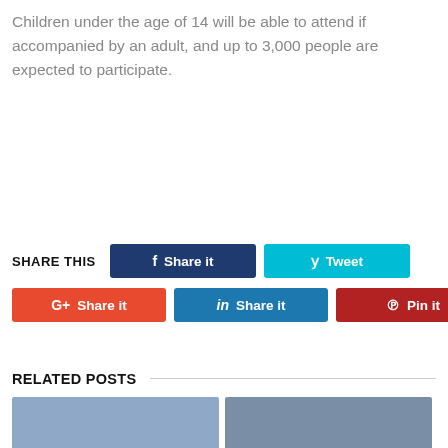Children under the age of 14 will be able to attend if accompanied by an adult, and up to 3,000 people are expected to participate.
SHARE THIS | Share it | Tweet | Share it | Share it | Pin it
RELATED POSTS
[Figure (photo): Two related post thumbnail images side by side at bottom of page]